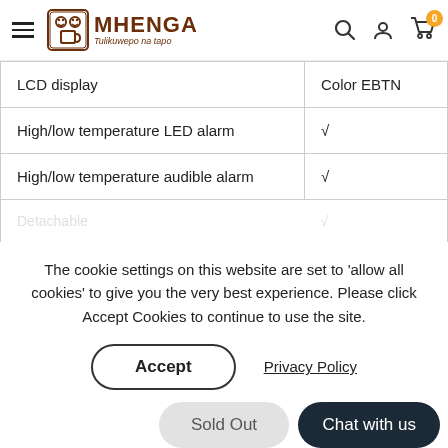MHENGA Tulikuwepo na tapo — navigation header with hamburger menu, search, user, and cart icons
| Feature | Value |
| --- | --- |
| LCD display | Color EBTN |
| High/low temperature LED alarm | √ |
| High/low temperature audible alarm | √ |
| [partially visible row] | √ |
The cookie settings on this website are set to 'allow all cookies' to give you the very best experience. Please click Accept Cookies to continue to use the site.
Accept | Privacy Policy
Sold Out | Chat with us